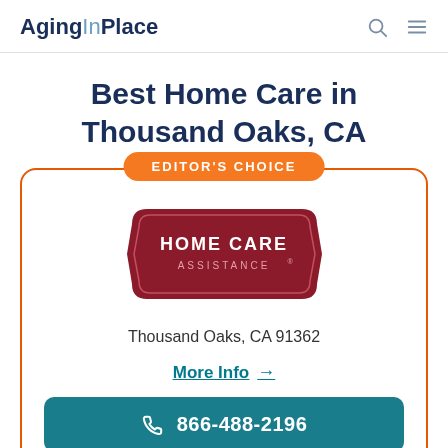AgingInPlace
Best Home Care in Thousand Oaks, CA
[Figure (logo): Editor's Choice badge with orange rounded rectangle pill shape, text: EDITOR'S CHOICE]
[Figure (logo): Home Care Assistance logo — dark red/maroon badge shape with text HOME CARE ASSISTANCE]
Thousand Oaks, CA 91362
More Info →
866-488-2196